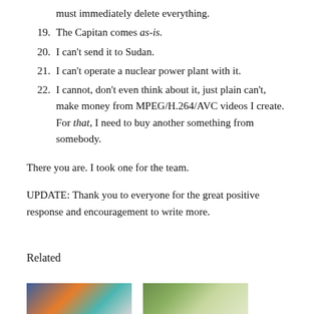must immediately delete everything.
19. The Capitan comes as-is.
20. I can't send it to Sudan.
21. I can't operate a nuclear power plant with it.
22. I cannot, don't even think about it, just plain can't, make money from MPEG/H.264/AVC videos I create. For that, I need to buy another something from somebody.
There you are. I took one for the team.
UPDATE: Thank you to everyone for the great positive response and encouragement to write more.
Related
[Figure (photo): Two thumbnail images at the bottom of the page]